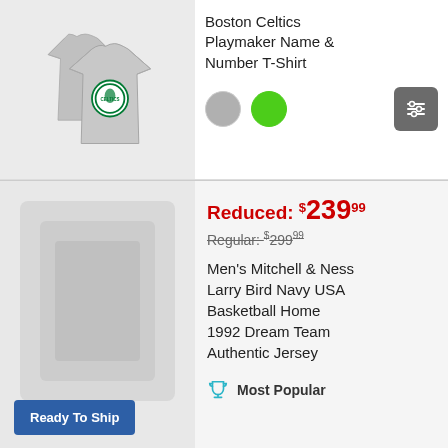[Figure (photo): Gray Boston Celtics Playmaker Name & Number T-Shirt shown from front]
Boston Celtics Playmaker Name & Number T-Shirt
[Figure (photo): Blurred/redacted product image for Men's Mitchell & Ness Larry Bird Navy USA Basketball Home 1992 Dream Team Authentic Jersey]
Reduced: $239.99
Regular: $299.99
Men's Mitchell & Ness Larry Bird Navy USA Basketball Home 1992 Dream Team Authentic Jersey
Most Popular
Ready To Ship